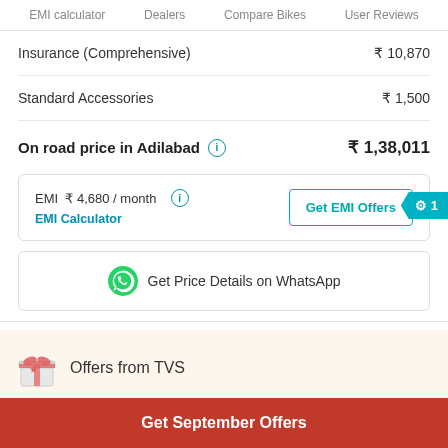EMI calculator   Dealers   Compare Bikes   User Reviews
| Item | Price |
| --- | --- |
| Insurance (Comprehensive) | ₹ 10,870 |
| Standard Accessories | ₹ 1,500 |
| On road price in Adilabad | ₹ 1,38,011 |
EMI ₹ 4,680 / month
EMI Calculator
Get EMI Offers
Get Price Details on WhatsApp
Offers from TVS
Get September Offers